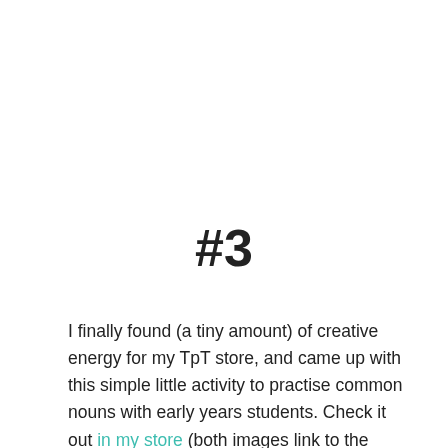#3
I finally found (a tiny amount) of creative energy for my TpT store, and came up with this simple little activity to practise common nouns with early years students. Check it out in my store (both images link to the product).